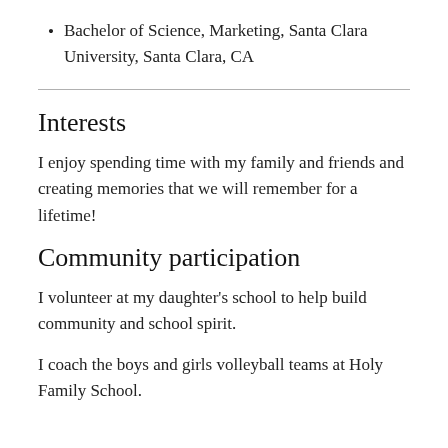Bachelor of Science, Marketing, Santa Clara University, Santa Clara, CA
Interests
I enjoy spending time with my family and friends and creating memories that we will remember for a lifetime!
Community participation
I volunteer at my daughter's school to help build community and school spirit.
I coach the boys and girls volleyball teams at Holy Family School.